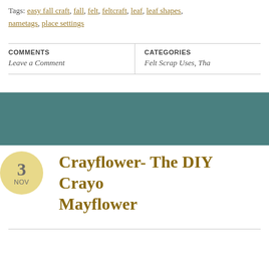Tags: easy fall craft, fall, felt, feltcraft, leaf, leaf shapes, nametags, place settings
COMMENTS
Leave a Comment
CATEGORIES
Felt Scrap Uses, Tha…
Crayflower- The DIY Crayon Mayflower